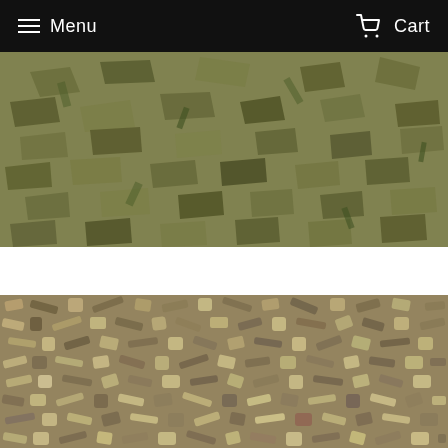Menu  Cart
[Figure (photo): Close-up photo of dried herb leaves, green and tan colored, fragmented and crushed]
[Figure (photo): Close-up photo of dried root or bark pieces, tan and brown colored, cut into small chunks and sticks]